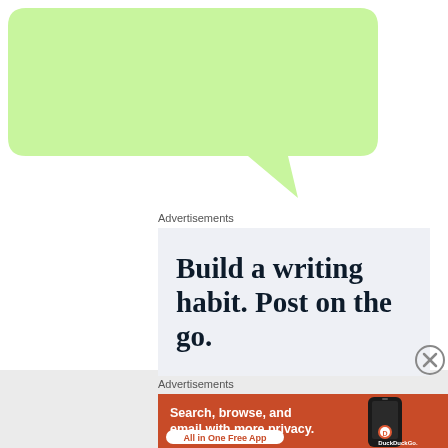The Bohemian Grove is a secret men's club where you can only be given access to after you have been initiated. So you just have to leave that aside first.
Advertisements
Build a writing habit. Post on the go.
Advertisements
Search, browse, and email with more privacy. All in One Free App
[Figure (logo): DuckDuckGo logo with phone illustration on orange background]